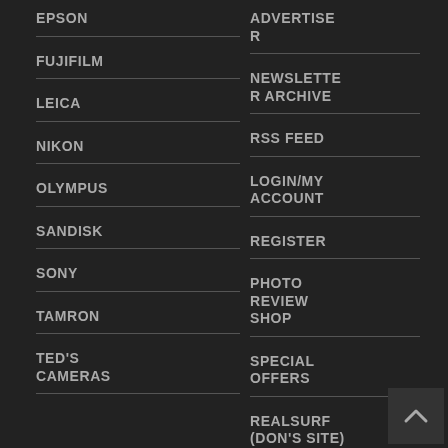EPSON
FUJIFILM
LEICA
NIKON
OLYMPUS
SANDISK
SONY
TAMRON
TED'S CAMERAS
ADVERTISER
NEWSLETTER ARCHIVE
RSS FEED
LOGIN/MY ACCOUNT
REGISTER
PHOTO REVIEW SHOP
SPECIAL OFFERS
REALSURF (DON'S SITE)